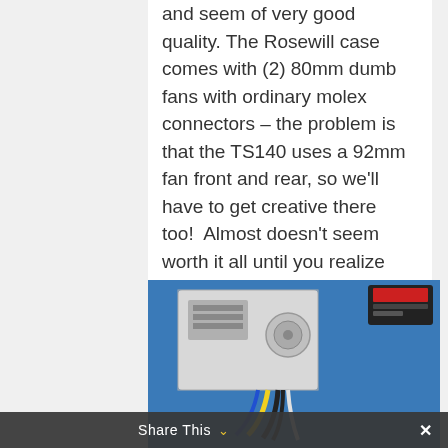and seem of very good quality. The Rosewill case comes with (2) 80mm dumb fans with ordinary molex connectors – the problem is that the TS140 uses a 92mm fan front and rear, so we'll have to get creative there too!  Almost doesn't seem worth it all until you realize these are not huge feats.  We'll tackle the fans, but let's start with the power supply issue first.
[Figure (photo): Photograph of a power supply unit (PSU) with cables (yellow, black, blue wires) on a blue surface, with a dark device in the upper right corner.]
Share This ∨  ✕